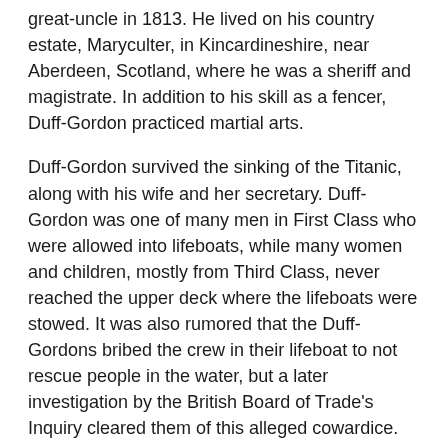great-uncle in 1813. He lived on his country estate, Maryculter, in Kincardineshire, near Aberdeen, Scotland, where he was a sheriff and magistrate. In addition to his skill as a fencer, Duff-Gordon practiced martial arts.
Duff-Gordon survived the sinking of the Titanic, along with his wife and her secretary. Duff-Gordon was one of many men in First Class who were allowed into lifeboats, while many women and children, mostly from Third Class, never reached the upper deck where the lifeboats were stowed. It was also rumored that the Duff-Gordons bribed the crew in their lifeboat to not rescue people in the water, but a later investigation by the British Board of Trade's Inquiry cleared them of this alleged cowardice.
The inquiry concluded that if their lifeboat had rowed towards the people in the water, it may have been able to rescue some of them, but the conclusion regarding the bribery allegation noted, "The very gross charge against Sir Cosmo Duff Gordon